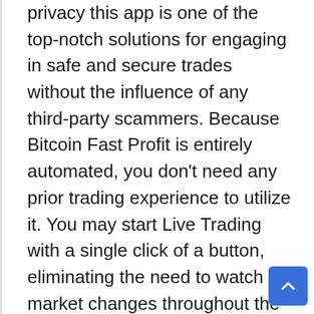privacy this app is one of the top-notch solutions for engaging in safe and secure trades without the influence of any third-party scammers. Because Bitcoin Fast Profit is entirely automated, you don't need any prior trading experience to utilize it. You may start Live Trading with a single click of a button, eliminating the need to watch market changes throughout the day. Bitcoin Fast Profit's sophisticated trading robot will take care of everything for you. In addition, Bitcoin Fast Profit App provides a tutorial to help you set up your account and begin trading. The app offers brokers connection and automated trading features. In manual trading, the broker is responsible for having a leverage ratio and executing digital orders on cryptocurrency